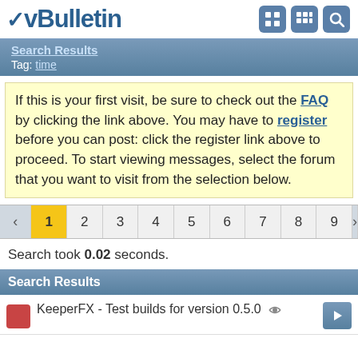vBulletin — Search Results — Tag: time
Search Results
Tag: time
If this is your first visit, be sure to check out the FAQ by clicking the link above. You may have to register before you can post: click the register link above to proceed. To start viewing messages, select the forum that you want to visit from the selection below.
Search took 0.02 seconds.
Search Results
KeeperFX - Test builds for version 0.5.0